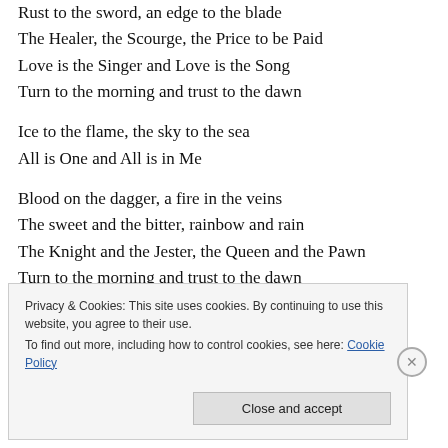Rust to the sword, an edge to the blade
The Healer, the Scourge, the Price to be Paid
Love is the Singer and Love is the Song
Turn to the morning and trust to the dawn
Ice to the flame, the sky to the sea
All is One and All is in Me
Blood on the dagger, a fire in the veins
The sweet and the bitter, rainbow and rain
The Knight and the Jester, the Queen and the Pawn
Turn to the morning and trust to the dawn
Privacy & Cookies: This site uses cookies. By continuing to use this website, you agree to their use. To find out more, including how to control cookies, see here: Cookie Policy
Close and accept